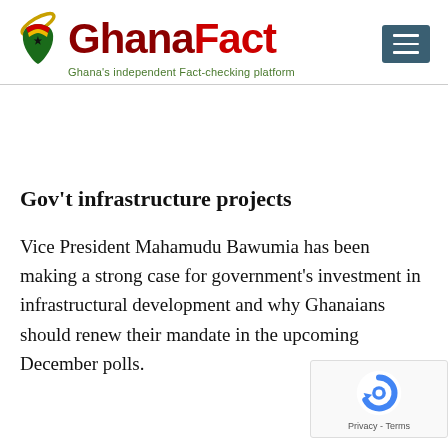[Figure (logo): GhanaFact logo with Ghana map icon and text 'GhanaFact - Ghana's independent Fact-checking platform']
[Figure (other): Hamburger menu icon button with three white horizontal lines on dark teal background]
Gov't infrastructure projects
Vice President Mahamudu Bawumia has been making a strong case for government's investment in infrastructural development and why Ghanaians should renew their mandate in the upcoming December polls.
[Figure (other): Google reCAPTCHA badge with blue circular arrow icon and 'Privacy - Terms' text]